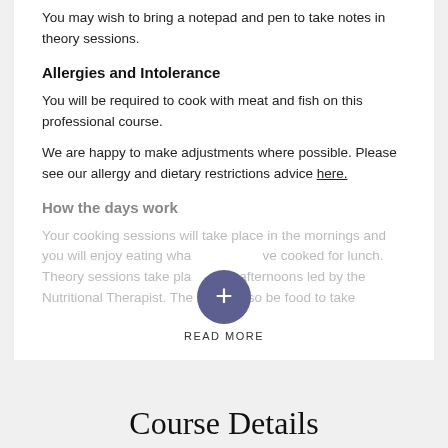You may wish to bring a notepad and pen to take notes in theory sessions.
Allergies and Intolerance
You will be required to cook with meat and fish on this professional course.
We are happy to make adjustments where possible. Please see our allergy and dietary restrictions advice here.
How the days work
Your cooking sessions will take place in the mornings and you will enjoy eating what we cooked for lunch. Theory sessions take place in afternoons led by the Nutritional Therapist. There will also be food to take
READ MORE
Course Details